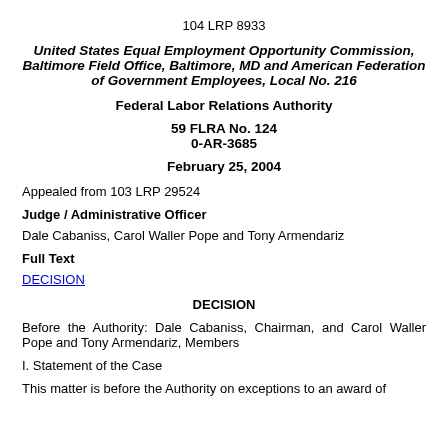104 LRP 8933
United States Equal Employment Opportunity Commission, Baltimore Field Office, Baltimore, MD and American Federation of Government Employees, Local No. 216
Federal Labor Relations Authority
59 FLRA No. 124
0-AR-3685
February 25, 2004
Appealed from 103 LRP 29524
Judge / Administrative Officer
Dale Cabaniss, Carol Waller Pope and Tony Armendariz
Full Text
DECISION
DECISION
Before the Authority: Dale Cabaniss, Chairman, and Carol Waller Pope and Tony Armendariz, Members
I. Statement of the Case
This matter is before the Authority on exceptions to an award of